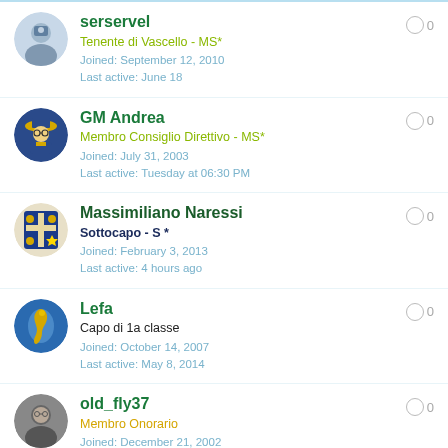serservel
Tenente di Vascello - MS*
Joined: September 12, 2010
Last active: June 18
GM Andrea
Membro Consiglio Direttivo - MS*
Joined: July 31, 2003
Last active: Tuesday at 06:30 PM
Massimiliano Naressi
Sottocapo - S *
Joined: February 3, 2013
Last active: 4 hours ago
Lefa
Capo di 1a classe
Joined: October 14, 2007
Last active: May 8, 2014
old_fly37
Membro Onorario
Joined: December 21, 2002
Last active: December 20, 2020
marat